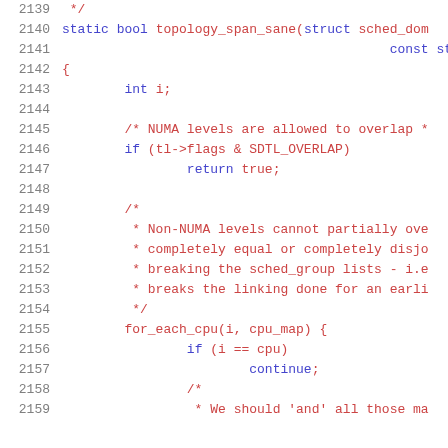[Figure (screenshot): Source code listing showing lines 2139-2159 of a C file, likely Linux kernel scheduler code. Line numbers in gray on left, code in red/blue monospace font. Shows topology_span_sane function with comments about NUMA levels and non-NUMA level overlap checks.]